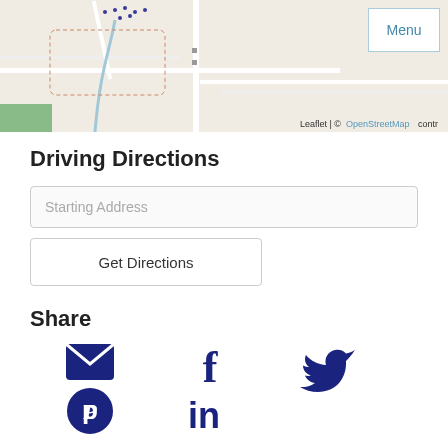[Figure (map): OpenStreetMap street map showing local area with roads, river, and dotted markers. Menu button in top-right corner. Attribution: Leaflet | © OpenStreetMap contr…]
Driving Directions
Starting Address
Get Directions
Share
[Figure (infographic): Social share icons: email (envelope), Pinterest, Facebook (f), LinkedIn (in), Twitter (bird) — all in dark navy blue]
Ask A Question
Call:
603-745-2550